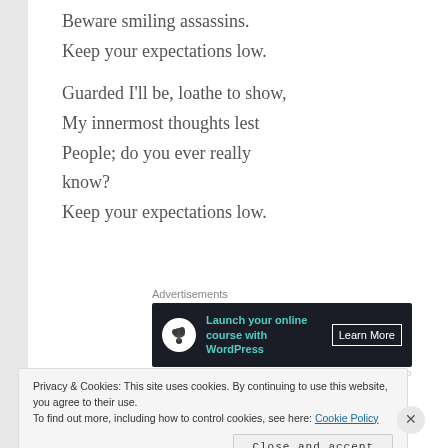Beware smiling assassins.
Keep your expectations low.
Guarded I'll be, loathe to show,
My innermost thoughts lest
People; do you ever really
know?
Keep your expectations low.
[Figure (other): Advertisement banner: dark background with bonsai tree logo, text 'Launch your online course with WordPress', and 'Learn More' button]
Privacy & Cookies: This site uses cookies. By continuing to use this website, you agree to their use. To find out more, including how to control cookies, see here: Cookie Policy
Close and accept